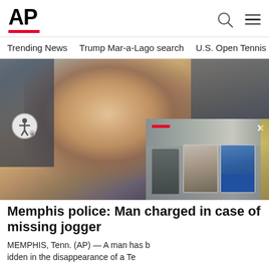AP
Trending News
Trump Mar-a-Lago search
U.S. Open Tennis
[Figure (photo): Smiling woman photographed outdoors, close-up selfie-style photo. Overlapping video thumbnail showing two male mugshots with a red bar and close button.]
Memphis police: Man charged in case of missing jogger
MEMPHIS, Tenn. (AP) — A man has been charged in the disappearance of a Tennessee...